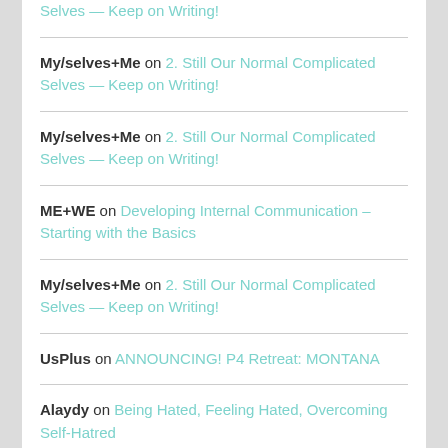Selves — Keep on Writing!
My/selves+Me on 2. Still Our Normal Complicated Selves — Keep on Writing!
My/selves+Me on 2. Still Our Normal Complicated Selves — Keep on Writing!
ME+WE on Developing Internal Communication – Starting with the Basics
My/selves+Me on 2. Still Our Normal Complicated Selves — Keep on Writing!
UsPlus on ANNOUNCING! P4 Retreat: MONTANA
Alaydy on Being Hated, Feeling Hated, Overcoming Self-Hatred